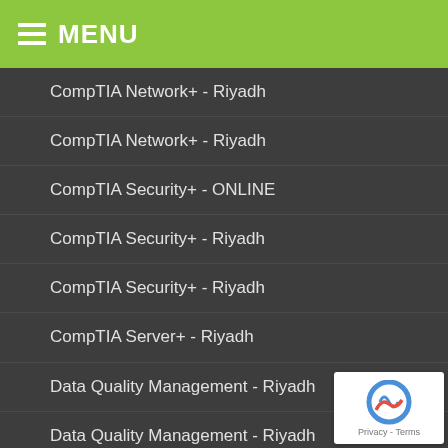MENU
CompTIA Network+ - Riyadh
CompTIA Network+ - Riyadh
CompTIA Security+ - ONLINE
CompTIA Security+ - Riyadh
CompTIA Security+ - Riyadh
CompTIA Server+ - Riyadh
Data Quality Management - Riyadh
Data Quality Management - Riyadh
DevOps Specialist - Riyadh
DevOps Specialist - Riyadh